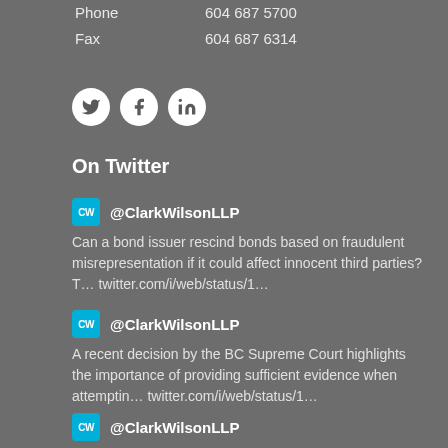Phone    604 687 5700
Fax    604 687 6314
[Figure (other): Social media icons: Twitter (t), Facebook (f), LinkedIn (in) in white circles on grey background]
On Twitter
@ClarkWilsonLLP
Can a bond issuer rescind bonds based on fraudulent misrepresentation if it could affect innocent third parties? T… twitter.com/i/web/status/1…
@ClarkWilsonLLP
A recent decision by the BC Supreme Court highlights the importance of providing sufficient evidence when attemptin… twitter.com/i/web/status/1…
@ClarkWilsonLLP